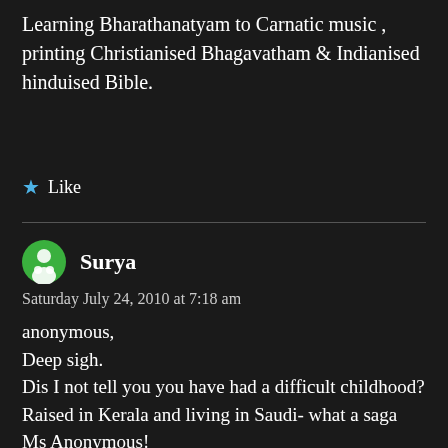Learning Bharathanatyam to Carnatic music , printing Christianised Bhagavatham & Indianised hinduised Bible.
★ Like
Surya
Saturday July 24, 2010 at 7:18 am
anonymous,
Deep sigh.
Dis I not tell you you have had a difficult childhood? Raised in Kerala and living in Saudi- what a saga Ms Anonymous!
The keralite muslim murderers have chopped off the hands of...